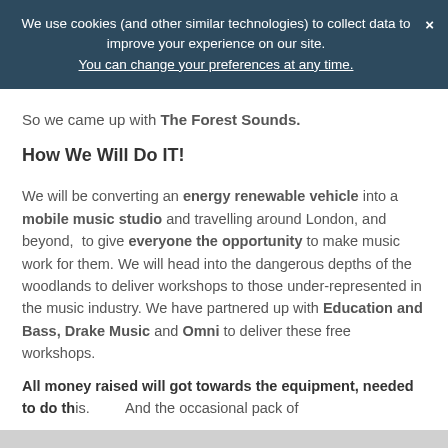We use cookies (and other similar technologies) to collect data to improve your experience on our site. You can change your preferences at any time.
So we came up with The Forest Sounds.
How We Will Do IT!
We will be converting an energy renewable vehicle into a mobile music studio and travelling around London, and beyond,  to give everyone the opportunity to make music work for them. We will head into the dangerous depths of the woodlands to deliver workshops to those under-represented in the music industry. We have partnered up with Education and Bass, Drake Music and Omni to deliver these free workshops.
All money raised will got towards the equipment, needed to do this.     And the occasional pack of